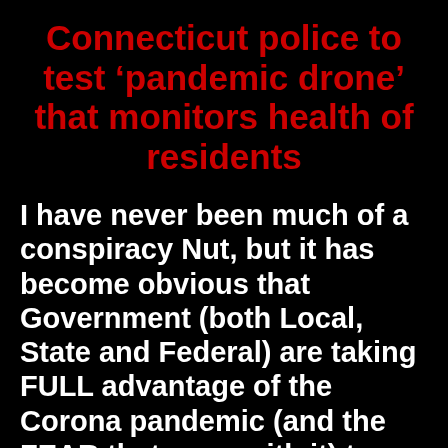Connecticut police to test 'pandemic drone' that monitors health of residents
I have never been much of a conspiracy Nut, but it has become obvious that Government (both Local, State and Federal) are taking FULL advantage of the Corona pandemic (and the FEAR that goes with it) to “up the ante” on civilian